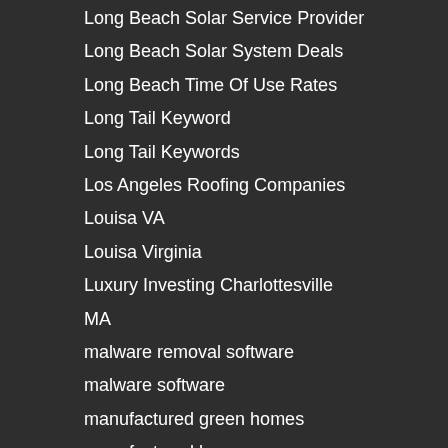Long Beach Solar Service Provider
Long Beach Solar System Deals
Long Beach Time Of Use Rates
Long Tail Keyword
Long Tail Keywords
Los Angeles Roofing Companies
Louisa VA
Louisa Virginia
Luxury Investing Charlottesville
MA
malware removal software
malware software
manufactured green homes
manufactured homes
Marketing
Marketing Company